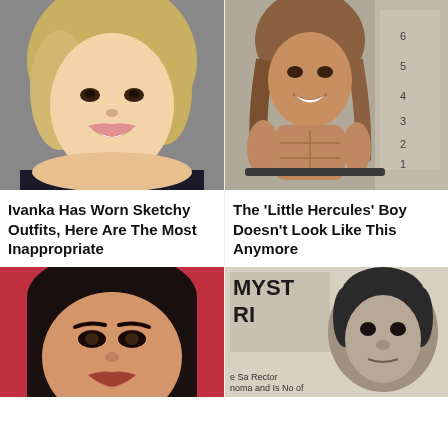[Figure (photo): Photo of Ivanka Trump smiling, blonde hair, close-up portrait]
[Figure (photo): Photo of young muscular boy known as 'Little Hercules' in a gym setting]
Ivanka Has Worn Sketchy Outfits, Here Are The Most Inappropriate
The 'Little Hercules' Boy Doesn't Look Like This Anymore
[Figure (photo): Close-up photo of Kim Kardashian with dark hair, heavy eye makeup]
[Figure (photo): Black and white photo of a child with partial newspaper headline reading MYST and partial text 'e Sa Rector noma and Is No... of']